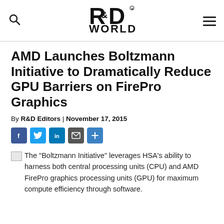R&D WORLD
AMD Launches Boltzmann Initiative to Dramatically Reduce GPU Barriers on FirePro Graphics
By R&D Editors | November 17, 2015
[Figure (other): Social media share buttons: Facebook, Twitter, LinkedIn, Email, Plus]
The "Boltzmann Initiative" leverages HSA's ability to harness both central processing units (CPU) and AMD FirePro graphics processing units (GPU) for maximum compute efficiency through software.